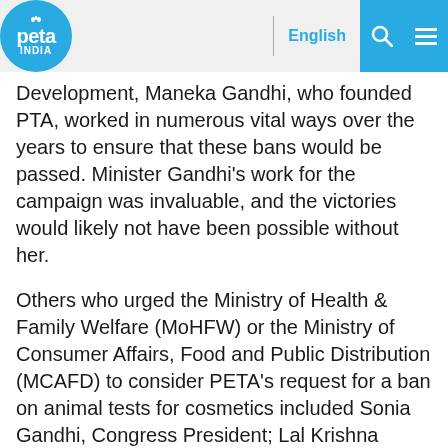PETA INDIA | English
Development, Maneka Gandhi, who founded PTA, worked in numerous vital ways over the years to ensure that these bans would be passed. Minister Gandhi's work for the campaign was invaluable, and the victories would likely not have been possible without her.
Others who urged the Ministry of Health & Family Welfare (MoHFW) or the Ministry of Consumer Affairs, Food and Public Distribution (MCAFD) to consider PETA's request for a ban on animal tests for cosmetics included Sonia Gandhi, Congress President; Lal Krishna Advani, senior leader of the Bharatiya Janata Party (BJP); Santosh Chaudhary, former Minister of State for Health & Family Welfare; Kodikunnil Suresh, former Minister of State for Labour & Employment; Tariq